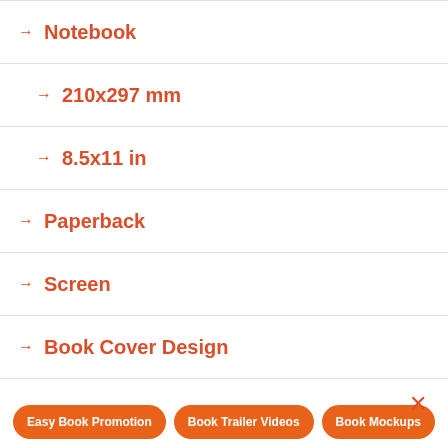→ Notebook
→ 210x297 mm
→ 8.5x11 in
→ Paperback
→ Screen
→ Book Cover Design
→ Book Promotion
Easy Book Promotion | Book Trailer Videos | Book Mockups